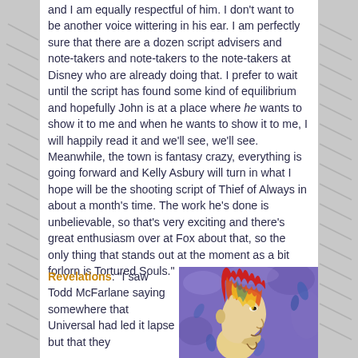and I am equally respectful of him. I don't want to be another voice wittering in his ear. I am perfectly sure that there are a dozen script advisers and note-takers and note-takers to the note-takers at Disney who are already doing that. I prefer to wait until the script has found some kind of equilibrium and hopefully John is at a place where he wants to show it to me and when he wants to show it to me, I will happily read it and we'll see, we'll see. Meanwhile, the town is fantasy crazy, everything is going forward and Kelly Asbury will turn in what I hope will be the shooting script of Thief of Always in about a month's time. The work he's done is unbelievable, so that's very exciting and there's great enthusiasm over at Fox about that, so the only thing that stands out at the moment as a bit forlorn is Tortured Souls."
Revelations: "I saw Todd McFarlane saying somewhere that Universal had led it lapse but that they
[Figure (illustration): Colorful illustrated portrait of a fantastical character with flaming red and yellow hair, side profile view, painted in vivid colors on a purple background]